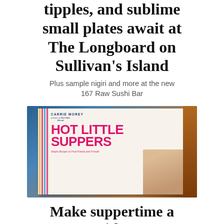tipples, and sublime small plates await at The Longboard on Sullivan's Island
Plus sample nigiri and more at the new 167 Raw Sushi Bar
[Figure (photo): Book cover of 'Hot Little Suppers' by Carrie Morey, founder of Hot Little Biscuit. The cover shows the book title in large pink letters with the subtitle 'Simple Recipes to Feed Family and Friends'. A person is partially visible in the background. The book has a white cover with colorful stripe design on the left spine area.]
Make suppertime a snap with a new cookbook from Carrie